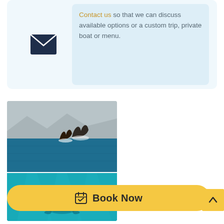Contact us so that we can discuss available options or a custom trip, private boat or menu.
[Figure (photo): Whale tail breaching out of the ocean with mountains and coastline in background, and a partial snorkeling underwater scene below]
Book Now